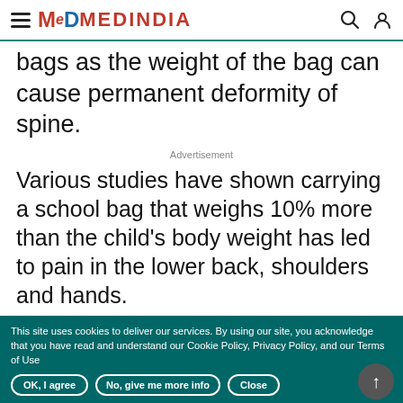MEDINDIA
bags as the weight of the bag can cause permanent deformity of spine.
Advertisement
Various studies have shown carrying a school bag that weighs 10% more than the child's body weight has led to pain in the lower back, shoulders and hands.
This site uses cookies to deliver our services. By using our site, you acknowledge that you have read and understand our Cookie Policy, Privacy Policy, and our Terms of Use